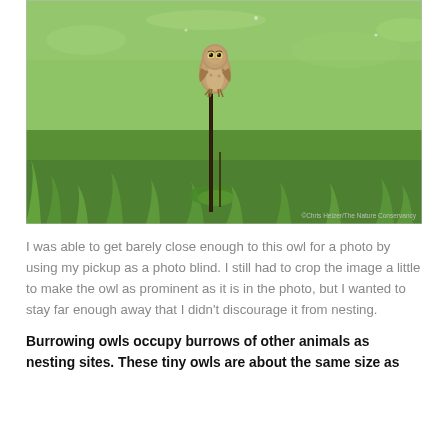[Figure (photo): A burrowing owl perched on top of a thin dark stick/post in a green grassy field. The owl is small and spotted brown. Watermark reads: ©Chris Helzer/The Nature Conservancy]
I was able to get barely close enough to this owl for a photo by using my pickup as a photo blind. I still had to crop the image a little to make the owl as prominent as it is in the photo, but I wanted to stay far enough away that I didn't discourage it from nesting.
Burrowing owls occupy burrows of other animals as nesting sites.  These tiny owls are about the same size as